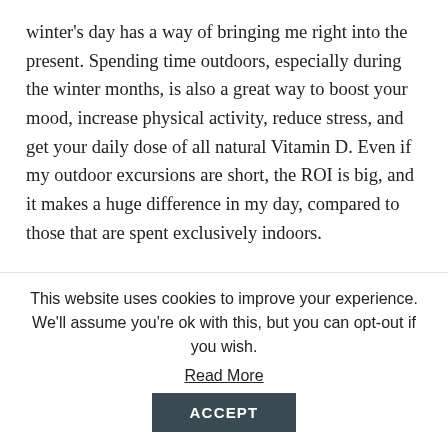winter's day has a way of bringing me right into the present. Spending time outdoors, especially during the winter months, is also a great way to boost your mood, increase physical activity, reduce stress, and get your daily dose of all natural Vitamin D. Even if my outdoor excursions are short, the ROI is big, and it makes a huge difference in my day, compared to those that are spent exclusively indoors.
HERE ARE SOME TIPS FOR CONTINUING, AND ACTUALLY ENJOYING YOUR CONNECTION
This website uses cookies to improve your experience. We'll assume you're ok with this, but you can opt-out if you wish.
Read More
ACCEPT